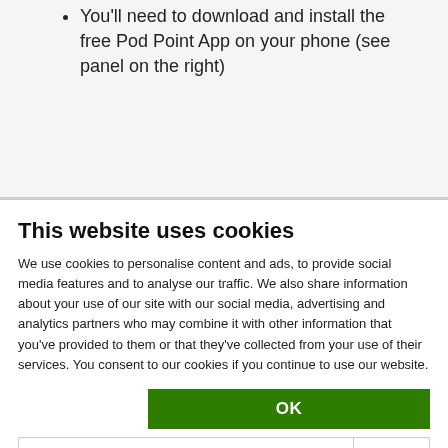You'll need to download and install the free Pod Point App on your phone (see panel on the right)
This website uses cookies
We use cookies to personalise content and ads, to provide social media features and to analyse our traffic. We also share information about your use of our site with our social media, advertising and analytics partners who may combine it with other information that you've provided to them or that they've collected from your use of their services. You consent to our cookies if you continue to use our website.